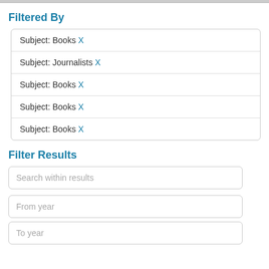Filtered By
Subject: Books X
Subject: Journalists X
Subject: Books X
Subject: Books X
Subject: Books X
Filter Results
Search within results
From year
To year